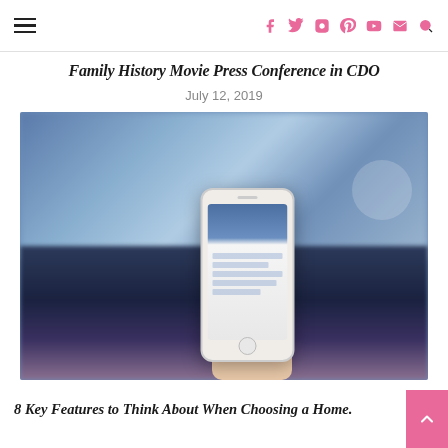Navigation and social icons header
Family History Movie Press Conference in CDO
July 12, 2019
[Figure (photo): Person holding a smartphone displaying a sports/baseball app, with a blurred TV screen in the background showing a sports event.]
8 Key Features to Think About When Choosing a Home.